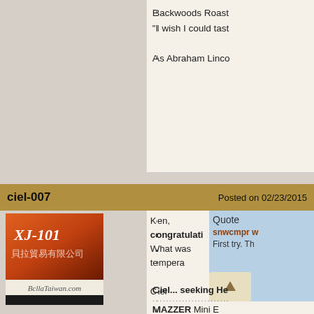Backwoods Roast
"I wish I could tast

As Abraham Linco
ciel-007    Posted on 02/23/2015
[Figure (photo): Avatar image for ciel-007: orange/brown gradient with Chinese text and 'XJ-101', site label 'BcllaTaiwan.com', black bar at bottom]
1 1/2 Pounder
Posts: 651
Joined: April 03, 2012
Quote
snwcmpr w
First try. Th
Ken, congratulati
What was tempera

Ciel
Ciel... seeking He
........................
MAZZER Mini E